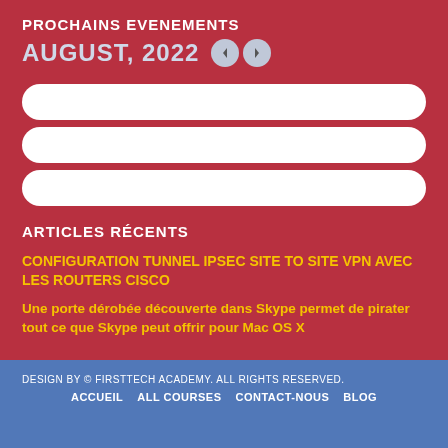PROCHAINS EVENEMENTS
AUGUST, 2022
[Figure (other): Three white pill-shaped empty bars representing upcoming events]
ARTICLES RÉCENTS
CONFIGURATION TUNNEL IPSEC SITE TO SITE VPN AVEC LES ROUTERS CISCO
Une porte dérobée découverte dans Skype permet de pirater tout ce que Skype peut offrir pour Mac OS X
DESIGN BY © FIRSTTECH ACADEMY. ALL RIGHTS RESERVED.
ACCUEIL   ALL COURSES   CONTACT-NOUS   BLOG